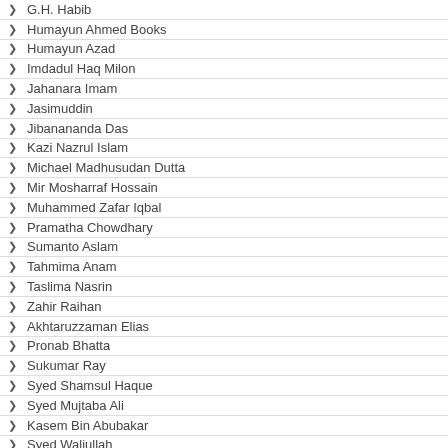G.H. Habib
Humayun Ahmed Books
Humayun Azad
Imdadul Haq Milon
Jahanara Imam
Jasimuddin
Jibanananda Das
Kazi Nazrul Islam
Michael Madhusudan Dutta
Mir Mosharraf Hossain
Muhammed Zafar Iqbal
Pramatha Chowdhary
Sumanto Aslam
Tahmima Anam
Taslima Nasrin
Zahir Raihan
Akhtaruzzaman Elias
Pronab Bhatta
Sukumar Ray
Syed Shamsul Haque
Syed Mujtaba Ali
Kasem Bin Abubakar
Syed Waliullah
Nasreen Jahan